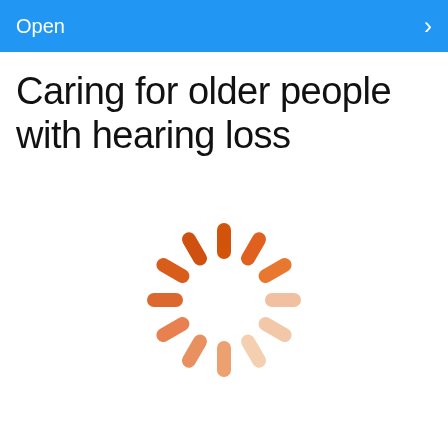Open
Caring for older people with hearing loss
[Figure (other): A circular loading spinner made of rounded rectangular segments arranged in a clock-like pattern. Segments transition from dark orange at the top (around 12 o'clock position) through lighter orange shades going clockwise, to very light peach/cream shades on the right side, then back through light orange shades at the bottom.]